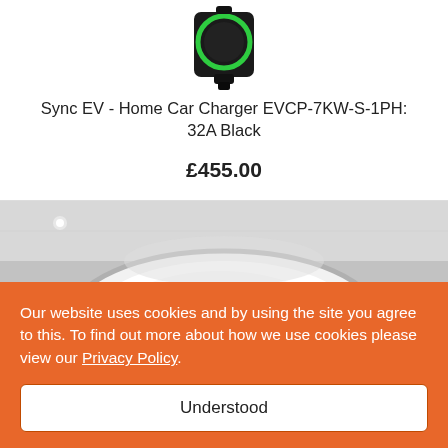[Figure (photo): Sync EV home car charger device, black with green ring, viewed from above at angle]
Sync EV - Home Car Charger EVCP-7KW-S-1PH: 32A Black
£455.00
[Figure (photo): Round white ceiling light fixture mounted on ceiling, viewed from below at angle]
Our website uses cookies and by using the site you agree to this. To find out more about how we use cookies please view our Privacy Policy.
Understood